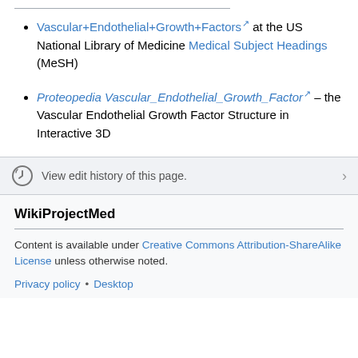Vascular+Endothelial+Growth+Factors [ext link] at the US National Library of Medicine Medical Subject Headings (MeSH)
Proteopedia Vascular_Endothelial_Growth_Factor [ext link] – the Vascular Endothelial Growth Factor Structure in Interactive 3D
View edit history of this page.
WikiProjectMed
Content is available under Creative Commons Attribution-ShareAlike License unless otherwise noted.
Privacy policy • Desktop